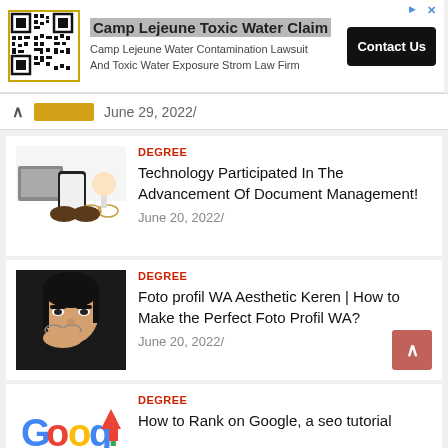[Figure (infographic): Advertisement banner: Camp Lejeune Toxic Water Claim with QR code, text, and Contact Us button]
June 29, 2022/
[Figure (photo): Hands holding a smartphone with glasses and laptop in background]
DEGREE
Technology Participated In The Advancement Of Document Management!
June 20, 2022/
[Figure (photo): Person with dark hair holding glasses in front of face against dark background]
DEGREE
Foto profil WA Aesthetic Keren | How to Make the Perfect Foto Profil WA?
June 20, 2022/
[Figure (logo): Google logo with upward arrow]
DEGREE
How to Rank on Google, a seo tutorial